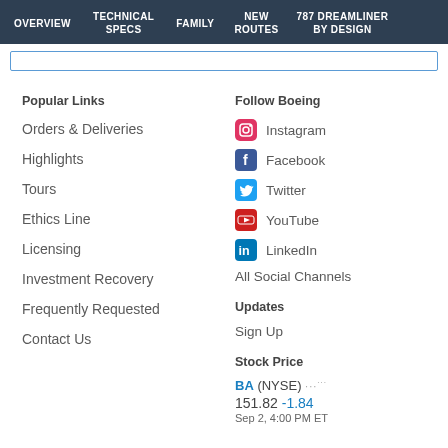OVERVIEW | TECHNICAL SPECS | FAMILY | NEW ROUTES | 787 DREAMLINER BY DESIGN
Popular Links
Orders & Deliveries
Highlights
Tours
Ethics Line
Licensing
Investment Recovery
Frequently Requested
Contact Us
Follow Boeing
Instagram
Facebook
Twitter
YouTube
LinkedIn
All Social Channels
Updates
Sign Up
Stock Price
BA (NYSE) 151.82 -1.84 Sep 2, 4:00 PM ET